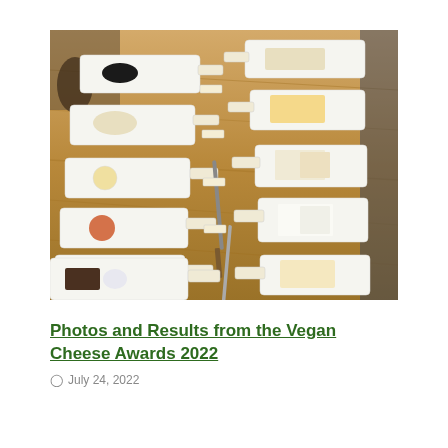[Figure (photo): A long wooden table with multiple white rectangular plates/trays arranged in two rows. Each tray contains vegan cheese samples with small label cards. A cheese knife is visible in the center of the table. The setting appears to be a formal tasting event.]
Photos and Results from the Vegan Cheese Awards 2022
July 24, 2022